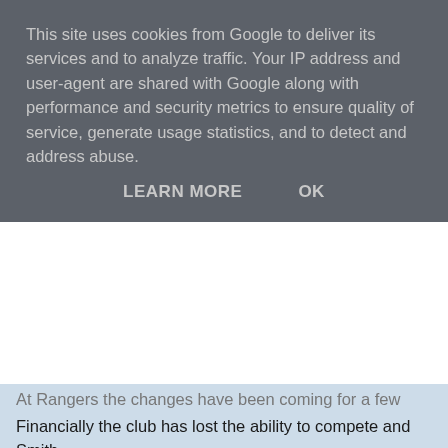This site uses cookies from Google to deliver its services and to analyze traffic. Your IP address and user-agent are shared with Google along with performance and security metrics to ensure quality of service, generate usage statistics, and to detect and address abuse.
LEARN MORE   OK
At Rangers the changes have been coming for a few years. Financially the club has lost the ability to compete and Smith, hands tied, is being asked to replicate the success of last season with a group of players who desperately need freshened up. And he's doing all that with a massive question mark over his own future. A new contract is needed in January but he's announced he won't sign. Will the last six months of this campaign be part of Ally McCoist's seamless succession? Will they provide the golden autumn to Smith's Ibrox career or will they be the anti-climax that he couldn't avoid the last time he left?
And at Celtic Mowbray, with his own resources somewhat drained thanks in no small part to the money Celtic had to pay to get him, is setting about preaching his football...